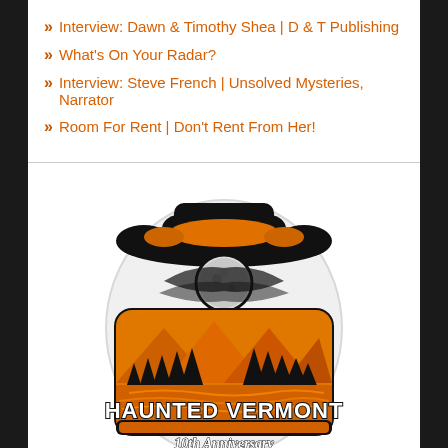» Interview: Dawn & Timothy Shea | D & T Publishing
» What's On Your Radar?
» Interview: Steve French | Unsolved Mysteries, Narrator
» Room For Rent | Don't Rent From Her!
[Figure (logo): Haunted Vermont 10th Anniversary logo sticker: a shaped sticker with a cowboy hat, moon, forest treeline, mountains, river, and text 'Haunted Vermont 10th Anniversary' in an orange and black illustrated style]